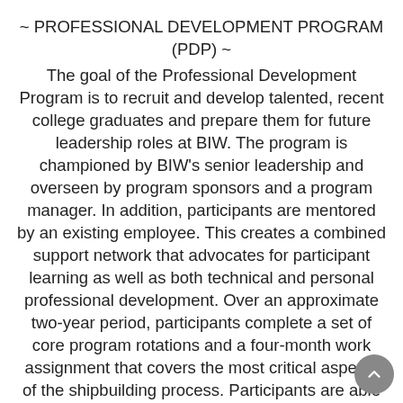~ PROFESSIONAL DEVELOPMENT PROGRAM (PDP) ~
The goal of the Professional Development Program is to recruit and develop talented, recent college graduates and prepare them for future leadership roles at BIW. The program is championed by BIW's senior leadership and overseen by program sponsors and a program manager. In addition, participants are mentored by an existing employee. This creates a combined support network that advocates for participant learning as well as both technical and personal professional development. Over an approximate two-year period, participants complete a set of core program rotations and a four-month work assignment that covers the most critical aspects of the shipbuilding process. Participants are able to gain valuable shipbuilding and maritime